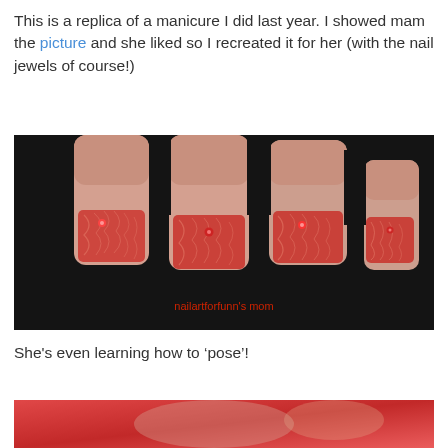This is a replica of a manicure I did last year. I showed mam the picture and she liked so I recreated it for her (with the nail jewels of course!)
[Figure (photo): Close-up photo of four fingers with red lace-patterned nail art on a dark background, with text 'nailartforfunn's mom' at the bottom]
She's even learning how to ‘pose’!
[Figure (photo): Partial photo at bottom showing red colors, appears to be a person posing]